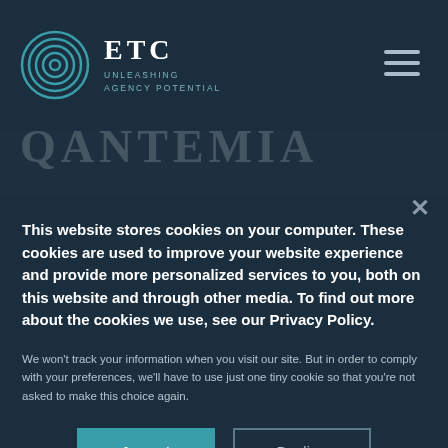[Figure (logo): ETC Unleashing Agency Potential logo with concentric circle target icon in teal and white text]
[Figure (other): Hamburger menu icon (three horizontal lines) in light gray on dark background]
This website stores cookies on your computer. These cookies are used to improve your website experience and provide more personalized services to you, both on this website and through other media. To find out more about the cookies we use, see our Privacy Policy.
We won't track your information when you visit our site. But in order to comply with your preferences, we'll have to use just one tiny cookie so that you're not asked to make this choice again.
Accept
Decline